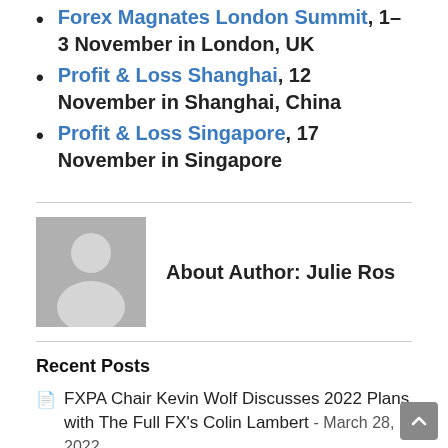Profit & Loss Shanghai, 12 November in Shanghai, China
Profit & Loss Singapore, 17 November in Singapore
About Author: Julie Ros
Recent Posts
FXPA Chair Kevin Wolf Discusses 2022 Plans with The Full FX's Colin Lambert - March 28, 2022